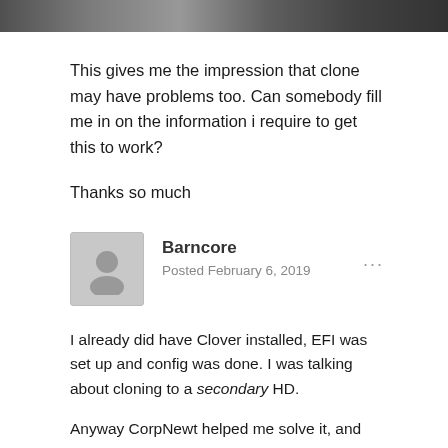[Figure (photo): Partial image strip at top of page, dark/shadowed content]
This gives me the impression that clone may have problems too. Can somebody fill me in on the information i require to get this to work?
Thanks so much
Barncore
Posted February 6, 2019
I already did have Clover installed, EFI was set up and config was done. I was talking about cloning to a secondary HD.

Anyway CorpNewt helped me solve it, and what fixed it was faking the CPU ID + adding a kext called XHCI-unsupported.

Now i can choose to boot either my 10.13.6 nvme ssd or my 10.13.6 HD. Stoked!